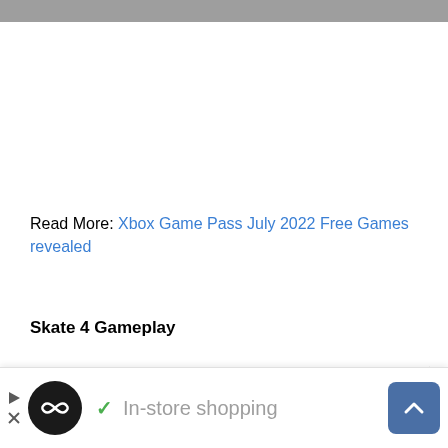Read More: Xbox Game Pass July 2022 Free Games revealed
Skate 4 Gameplay
Though we don't have official info on Skate 4 gameplay,
[Figure (screenshot): Advertisement bar at bottom with logo, in-store shopping text, and scroll-to-top button]